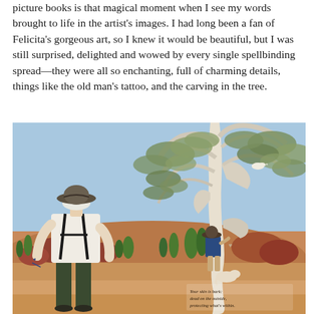picture books is that magical moment when I see my words brought to life in the artist's images. I had long been a fan of Felicita's gorgeous art, so I knew it would be beautiful, but I was still surprised, delighted and wowed by every single spellbinding spread—they were all so enchanting, full of charming details, things like the old man's tattoo, and the carving in the tree.
[Figure (illustration): An illustration from a picture book showing an old man with white hair, wearing a wide-brimmed dark hat, white shirt, dark suspenders, and dark trousers, viewed from behind. He stands in an Australian outback landscape with red-brown earth, scrubby bushes, and a large white-trunked gum tree. A small child in a blue outfit and dark hat is carving into the tree trunk. A white bird sits in the branches. The tree has sweeping grey-green leaves. In the lower right corner, text reads: 'Your skin is bark: dead on the outside, protecting what's within.']